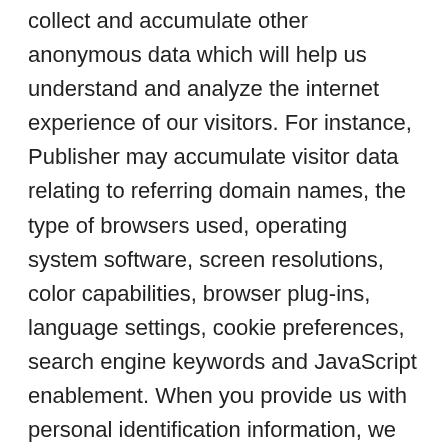collect and accumulate other anonymous data which will help us understand and analyze the internet experience of our visitors. For instance, Publisher may accumulate visitor data relating to referring domain names, the type of browsers used, operating system software, screen resolutions, color capabilities, browser plug-ins, language settings, cookie preferences, search engine keywords and JavaScript enablement. When you provide us with personal identification information, we are able to use such visitor data to identify you.
(e) Data Analysis: Data analysis technology may be employed from time to time if used by a